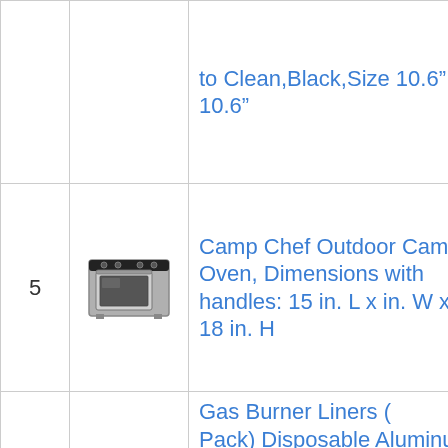| # | Image | Product |
| --- | --- | --- |
|  |  | to Clean,Black,Size 10.6” x 10.6” |
| 5 | [oven image] | Camp Chef Outdoor Camp Oven, Dimensions with handles: 15 in. L x in. W x 18 in. H |
|  |  | Gas Burner Liners ( Pack) Disposable Aluminum Foil Squa Stove Burner Cover |